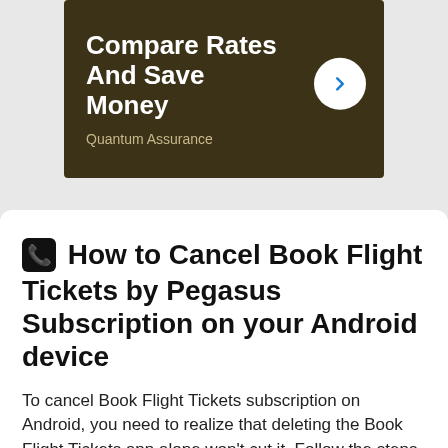[Figure (screenshot): Advertisement banner with dark brown background showing 'Compare Rates And Save Money' text with a white circular arrow button and 'Quantum Assurance' subtitle]
📞 How to Cancel Book Flight Tickets by Pegasus Subscription on your Android device
To cancel Book Flight Tickets subscription on Android, you need to realize that deleting the Book Flight Tickets app alone won't cut it. Follow the steps